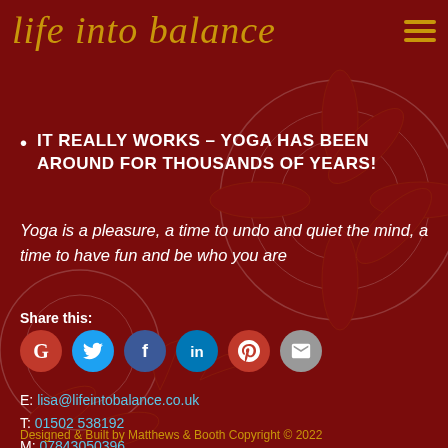life into balance
IT REALLY WORKS – YOGA HAS BEEN AROUND FOR THOUSANDS OF YEARS!
Yoga is a pleasure, a time to undo and quiet the mind, a time to have fun and be who you are
Share this:
[Figure (infographic): Social sharing icons: Google (red), Twitter (blue), Facebook (dark blue), LinkedIn (blue), Pinterest (red), Email (grey)]
E: lisa@lifeintobalance.co.uk
T: 01502 538192
M: 07843050396
Designed & Built by Matthews & Booth Copyright © 2022